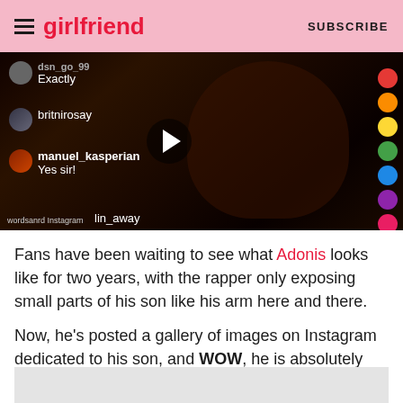girlfriend | SUBSCRIBE
[Figure (screenshot): Instagram Live video screenshot showing a dark video with user comments overlaid: username and 'Exactly', 'britnirosay', 'manuel_kasperian Yes sir!', and partially visible usernames. A play button is visible in the center. 'wordsanrd Instagram' watermark at bottom left.]
Fans have been waiting to see what Adonis looks like for two years, with the rapper only exposing small parts of his son like his arm here and there.
Now, he's posted a gallery of images on Instagram dedicated to his son, and WOW, he is absolutely beautiful, and NOTHING like what we'd ever expect!